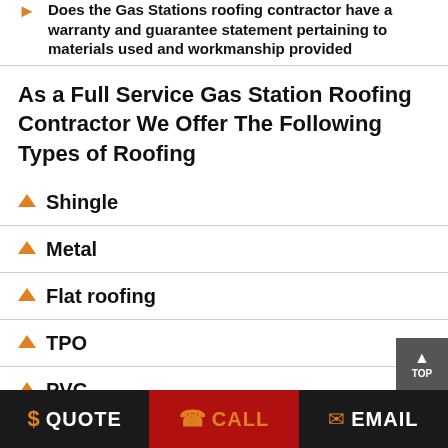Does the Gas Stations roofing contractor have a warranty and guarantee statement pertaining to materials used and workmanship provided
As a Full Service Gas Station Roofing Contractor We Offer The Following Types of Roofing
Shingle
Metal
Flat roofing
TPO
PVC
$ QUOTE   CALL   EMAIL